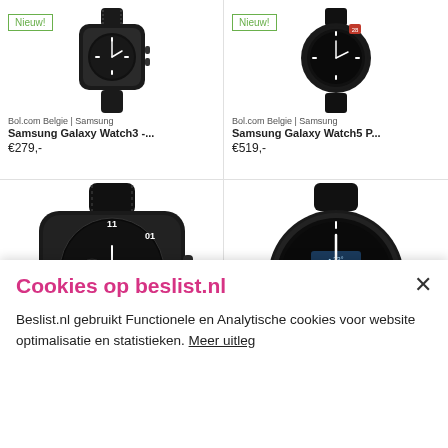[Figure (photo): Samsung Galaxy Watch3 product image with Nieuw! badge, black smartwatch with leather strap]
[Figure (photo): Samsung Galaxy Watch5 Pro product image with Nieuw! badge, black smartwatch]
Bol.com Belgie | Samsung
Samsung Galaxy Watch3 -...
€279,-
Bol.com Belgie | Samsung
Samsung Galaxy Watch5 P...
€519,-
[Figure (photo): Samsung Galaxy Watch3 large product image, black watch with leather strap showing watch face]
[Figure (photo): Samsung Galaxy Active2 large product image, black smartwatch with round display]
Cookies op beslist.nl
Beslist.nl gebruikt Functionele en Analytische cookies voor website optimalisatie en statistieken. Meer uitleg